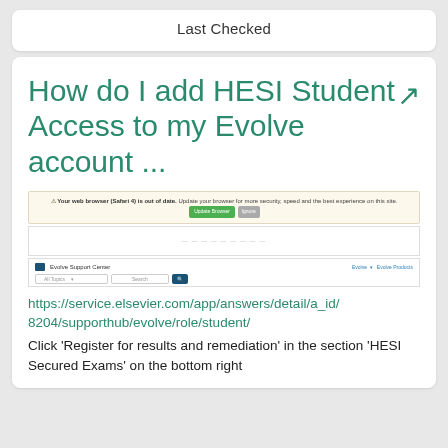Last Checked
How do I add HESI Student Access to my Evolve account ...
[Figure (screenshot): Screenshot of a web browser showing an outdated Safari browser warning banner with 'Update Browser' and 'Ignore' buttons on a beige/cream background, followed by a portion of the Evolve Support Center page with navigation and a search bar.]
https://service.elsevier.com/app/answers/detail/a_id/8204/supporthub/evolve/role/student/
Click 'Register for results and remediation' in the section 'HESI Secured Exams' on the bottom right